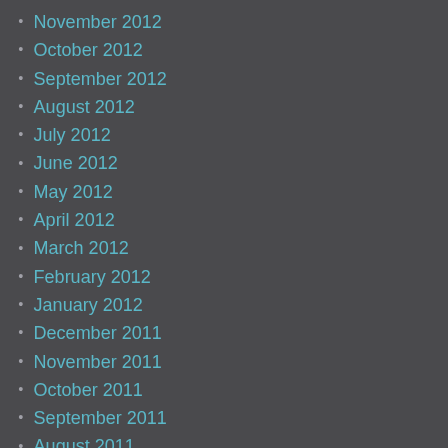November 2012
October 2012
September 2012
August 2012
July 2012
June 2012
May 2012
April 2012
March 2012
February 2012
January 2012
December 2011
November 2011
October 2011
September 2011
August 2011
July 2011
June 2011
May 2011